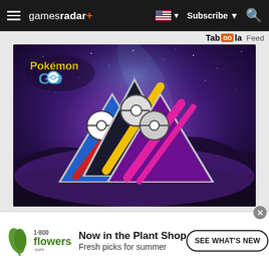gamesradar+ navigation bar with hamburger menu, logo, flag/subscribe/search controls
Taboola Feed
[Figure (screenshot): Pokemon GO Battle League promotional image showing three triangular league emblems (Great League in blue with red stripe, Ultra League in dark with yellow stripe, Master League in purple with pink stripe) against a starry purple cosmic background with silhouetted hills]
Pokemon Go Battle League Season of
[Figure (photo): 1-800-flowers.com advertisement: Now in the Plant Shop - Fresh picks for summer, with SEE WHAT'S NEW button and a photo of a potted plant]